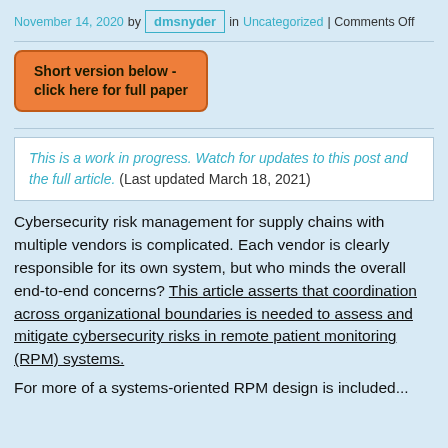November 14, 2020 by dmsnyder in Uncategorized | Comments Off
[Figure (other): Orange button with text: Short version below - click here for full paper]
This is a work in progress. Watch for updates to this post and the full article. (Last updated March 18, 2021)
Cybersecurity risk management for supply chains with multiple vendors is complicated. Each vendor is clearly responsible for its own system, but who minds the overall end-to-end concerns? This article asserts that coordination across organizational boundaries is needed to assess and mitigate cybersecurity risks in remote patient monitoring (RPM) systems.
For more of a systems-oriented RPM design is included...